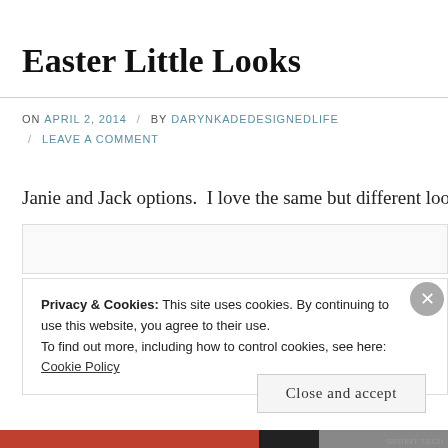Easter Little Looks
ON APRIL 2, 2014 / BY DARYNKADEDESIGNEDLIFE / LEAVE A COMMENT
Janie and Jack options.  I love the same but different look
Privacy & Cookies: This site uses cookies. By continuing to use this website, you agree to their use.
To find out more, including how to control cookies, see here: Cookie Policy
Close and accept